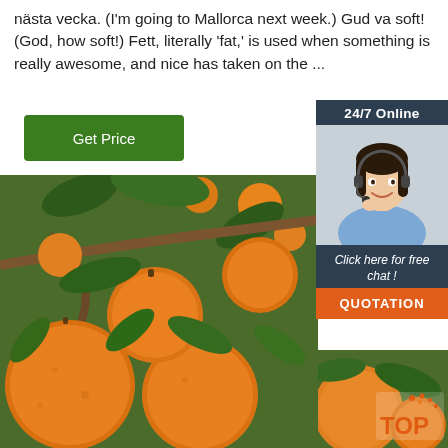nästa vecka. (I'm going to Mallorca next week.) Gud va soft! (God, how soft!) Fett, literally 'fat,' is used when something is really awesome, and nice has taken on the ...
[Figure (other): Green 'Get Price' button]
[Figure (other): 24/7 Online chat widget with female customer service agent wearing headset, 'Click here for free chat!' text, and orange QUOTATION button]
[Figure (photo): Close-up photo of ripe oranges hanging on a tree with green leaves]
[Figure (logo): TOP logo in bottom right corner with orange dots]